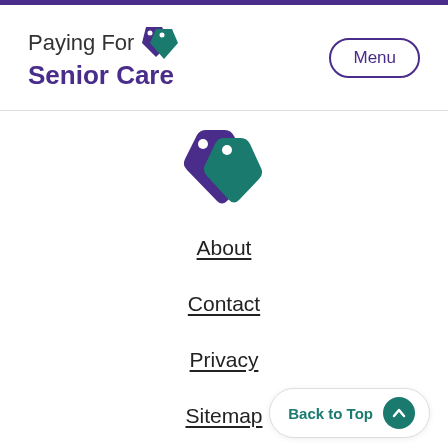Paying For Senior Care
[Figure (logo): Two price tag icons forming a heart shape, one purple and one teal, used as the logo icon for Paying For Senior Care]
About
Contact
Privacy
Sitemap
Terms & Conditions